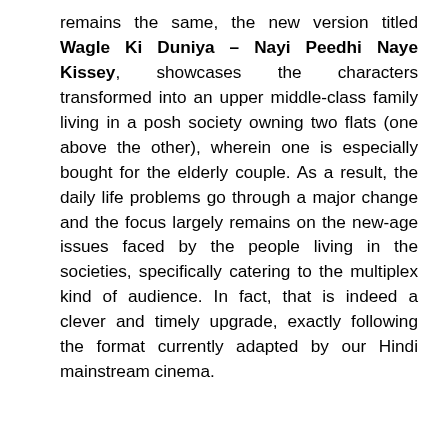remains the same, the new version titled Wagle Ki Duniya – Nayi Peedhi Naye Kissey, showcases the characters transformed into an upper middle-class family living in a posh society owning two flats (one above the other), wherein one is especially bought for the elderly couple. As a result, the daily life problems go through a major change and the focus largely remains on the new-age issues faced by the people living in the societies, specifically catering to the multiplex kind of audience. In fact, that is indeed a clever and timely upgrade, exactly following the format currently adapted by our Hindi mainstream cinema.